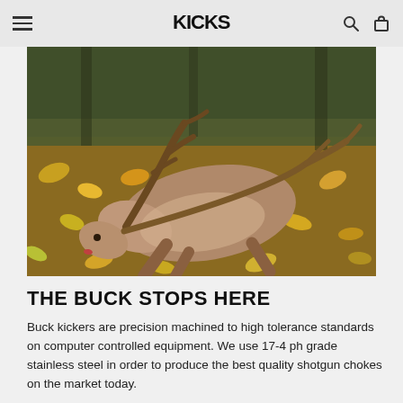KICKS (logo) — navigation bar with hamburger menu, search icon, cart icon
[Figure (photo): A dead buck deer lying on a forest floor covered in autumn leaves, seen from above-side angle. The deer has large antlers and is positioned on its side.]
THE BUCK STOPS HERE
Buck kickers are precision machined to high tolerance standards on computer controlled equipment. We use 17-4 ph grade stainless steel in order to produce the best quality shotgun chokes on the market today.